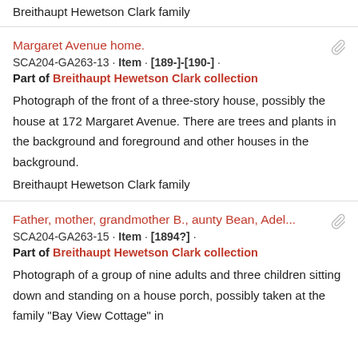Breithaupt Hewetson Clark family
Margaret Avenue home.
SCA204-GA263-13 · Item · [189-]-[190-] ·
Part of Breithaupt Hewetson Clark collection
Photograph of the front of a three-story house, possibly the house at 172 Margaret Avenue. There are trees and plants in the background and foreground and other houses in the background.
Breithaupt Hewetson Clark family
Father, mother, grandmother B., aunty Bean, Adel...
SCA204-GA263-15 · Item · [1894?] ·
Part of Breithaupt Hewetson Clark collection
Photograph of a group of nine adults and three children sitting down and standing on a house porch, possibly taken at the family "Bay View Cottage" in